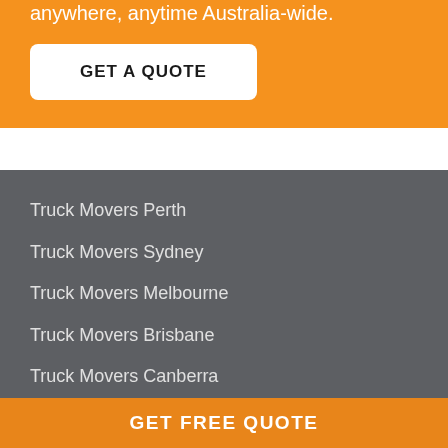anywhere, anytime Australia-wide.
GET A QUOTE
Truck Movers Perth
Truck Movers Sydney
Truck Movers Melbourne
Truck Movers Brisbane
Truck Movers Canberra
Truck Movers Adelaide
Truck Movers Hobart
GET FREE QUOTE